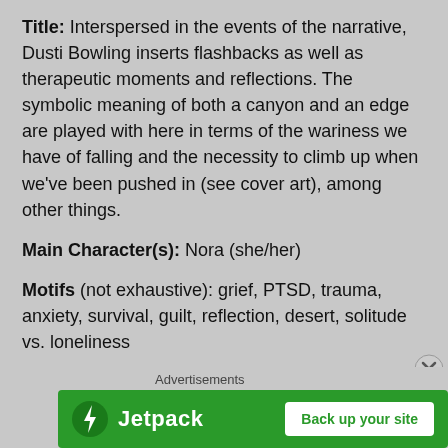Title: Interspersed in the events of the narrative, Dusti Bowling inserts flashbacks as well as therapeutic moments and reflections. The symbolic meaning of both a canyon and an edge are played with here in terms of the wariness we have of falling and the necessity to climb up when we've been pushed in (see cover art), among other things.
Main Character(s): Nora (she/her)
Motifs (not exhaustive): grief, PTSD, trauma, anxiety, survival, guilt, reflection, desert, solitude vs. loneliness
Great for...* (readers): who like Hatchet. Dare I say this is a newer, better adventure book rippling with figurative language?
Advertisements
[Figure (other): Jetpack advertisement banner with green background, Jetpack logo icon, wordmark 'Jetpack', and white button 'Back up your site']